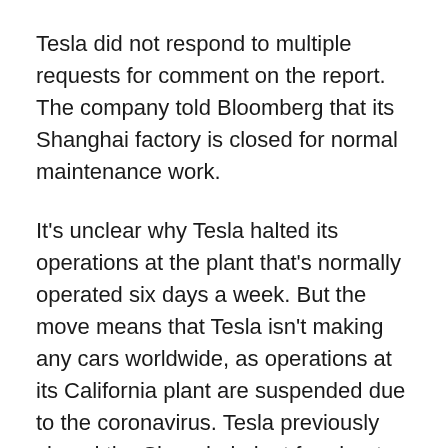Tesla did not respond to multiple requests for comment on the report.  The company told Bloomberg that its Shanghai factory is closed for normal maintenance work.
It's unclear why Tesla halted its operations at the plant that's normally operated six days a week. But the move means that Tesla isn't making any cars worldwide, as operations at its California plant are suspended due to the coronavirus. Tesla previously closed the Shanghai plant for about two weeks amid Covid-19 health orders there, but resumed quickly with help from local government.
Bloomberg reported that the company is fixing problems with a crucial piece of manufacturing